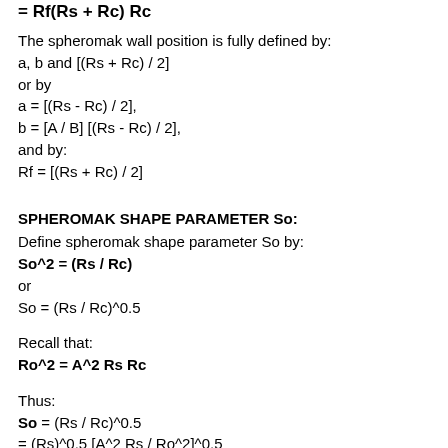= Rf(Rs + Rc) Rc
The spheromak wall position is fully defined by:
a, b and [(Rs + Rc) / 2]
or by
a = [(Rs - Rc) / 2],
b = [A / B] [(Rs - Rc) / 2],
and by:
Rf = [(Rs + Rc) / 2]
SPHEROMAK SHAPE PARAMETER So:
Define spheromak shape parameter So by:
So^2 = (Rs / Rc)
or
So = (Rs / Rc)^0.5
Recall that:
Ro^2 = A^2 Rs Rc
Thus:
So = (Rs / Rc)^0.5
= (Rs)^0.5 [A^2 Rs / Ro^2]^0.5
= A Rs / Ro
Similarly: